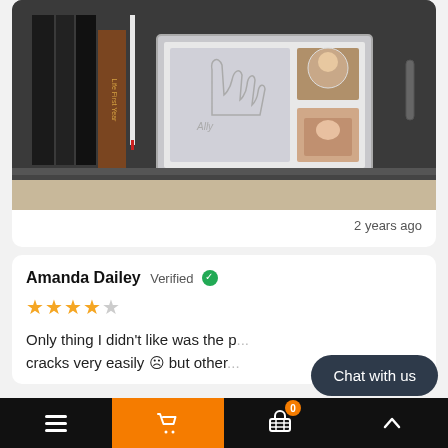[Figure (photo): A photo showing a picture frame with baby handprints and photos displayed on a shelf inside a cabinet, alongside books and a pen, on a gray wooden furniture piece with carpet visible below.]
2 years ago
Amanda Dailey Verified ✓
★★★★☆
Only thing I didn't like was the p... cracks very easily ☹ but other...
Chat with us